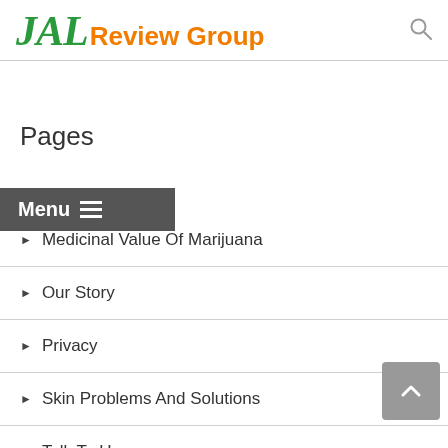JAL Review Group
Pages
Medicinal Value Of Marijuana
Our Story
Privacy
Skin Problems And Solutions
Talk To Us